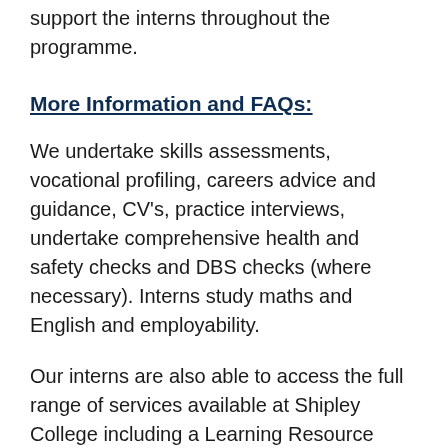support the interns throughout the programme.
More Information and FAQs:
We undertake skills assessments, vocational profiling, careers advice and guidance, CV's, practice interviews, undertake comprehensive health and safety checks and DBS checks (where necessary). Interns study maths and English and employability.
Our interns are also able to access the full range of services available at Shipley College including a Learning Resource Centre, free fitness suite, wide range of extra curricular activities and student support.